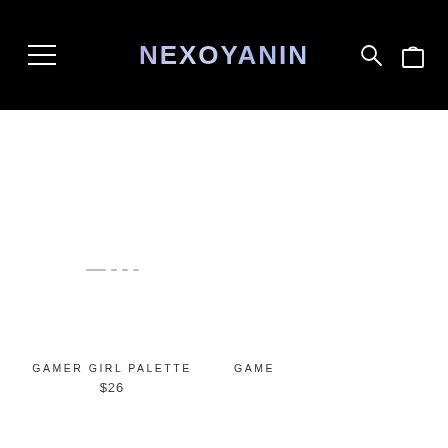NEXOYANIN
[Figure (photo): Product image area for Gamer Girl Palette - white/blank area with pagination dots]
GAMER GIRL PALETTE
$26
GAME...